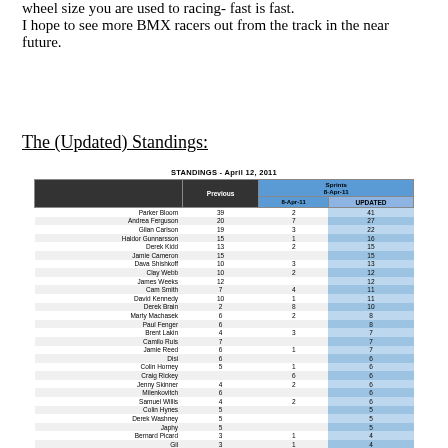wheel size you are used to facing- fast is fast. I hope to see more BMX racers out from the track in the near future.
The (Updated) Standings:
[Figure (table-as-image): Standings table dated April 12, 2011 showing racer names, previous points, sprints on 8-Apr-11, and updated totals. Racers include Parker Bloom (39, 2, 41), Andrea Ferguson (20, 7, 27), Gilan Carlson (19, 3, 22), Haldor Gunnarsson (15, 1, 16), Derek Kidd (13, 2, 15), Jamie Cameron (15, -, 15), Dava Shishkoff (10, 3, 13), Clay Webb (10, 2, 12), James Weeks (12, -, 12), Cam Smith (7, 4, 11), David Kennedy (10, 1, 11), Derek Brain (2, 8, 10), Marty Machasek (8, 2, 8? likely not), Paul Fenger (8, -, 8), Brent Lakin (4, 3, 7), Camilo Ruis (7, -, 7), Jamie Reed (6, 1, 7), Disi (6, -, 6), Colin Horney (5, 1, 6), Craig Rickey (-, 6, 6), Jenny Skinner (4, 2, 6), Milenkovitch (6, -, 6), Samuel Willis (4, 2, 6?), Colin Hynes (5, -, 5), Derek Washney (5, -, 5), Japhy (5, -, 5), Bernard Picard (3, 1, 4), Gil (3, 1, 4), Chris Pit-Taylor (3, 1, 4), Ian Hoar (4, -, 4), Justin Wolfe (4, -, 4), Sean Partlow (2, 2, 4), Tom Skinner (4, -, 4), Andrew McCartney (-, 3, 3), Kyle Archer (3, -, 3)]